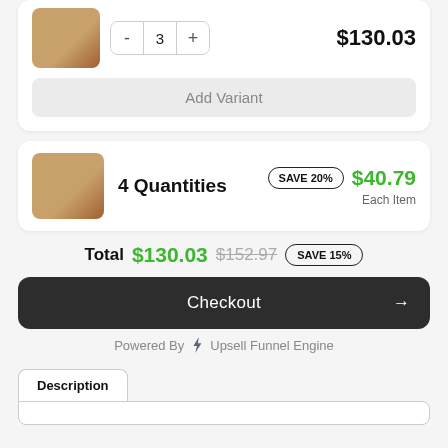$130.03
3
Add Variant
4 Quantities   SAVE 20%   $40.79   Each Item
Total $130.03 $152.97 SAVE 15%
Checkout →
Powered By ⚡ Upsell Funnel Engine
Description